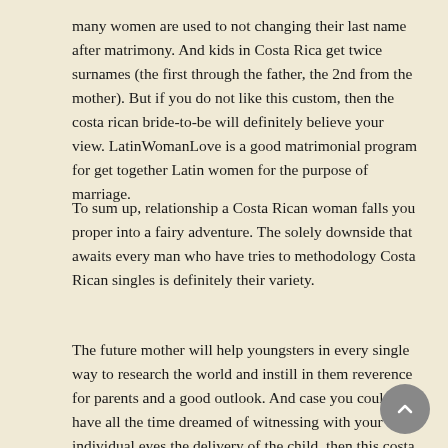many women are used to not changing their last name after matrimony. And kids in Costa Rica get twice surnames (the first through the father, the 2nd from the mother). But if you do not like this custom, then the costa rican bride-to-be will definitely believe your view. LatinWomanLove is a good matrimonial program for get together Latin women for the purpose of marriage.
To sum up, relationship a Costa Rican woman falls you proper into a fairy adventure. The solely downside that awaits every man who have tries to methodology Costa Rican singles is definitely their variety.
The future mother will help youngsters in every single way to research the world and instill in them reverence for parents and a good outlook. And case you could have all the time dreamed of witnessing with your individual eyes the delivery of the child, then this costa rica bride-to-be won't refuse you.